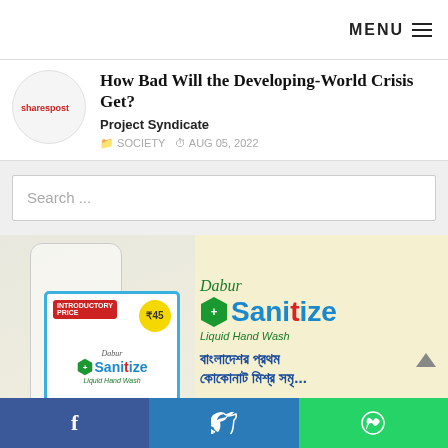MENU
How Bad Will the Developing-World Crisis Get?
Project Syndicate
SOCIETY  AUG 05, 2022
Search ...
[Figure (photo): Dabur Sanitize Liquid Hand Wash advertisement banner with Bengali text]
f  (twitter bird icon)  (WhatsApp icon)